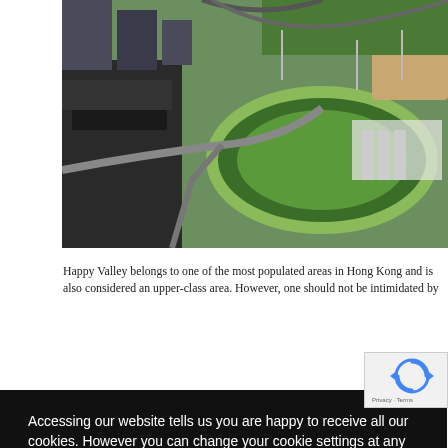[Figure (photo): Aerial view of Happy Valley racecourse and surrounding urban area in Hong Kong, showing the oval horse racing track, surrounding buildings, roads, and green areas.]
Happy Valley belongs to one of the most populated areas in Hong Kong and is also considered an upper-class area. However, one should not be intimidated by
Accessing our website tells us you are happy to receive all our cookies. However you can change your cookie settings at any time. Find out more  Privacy Policy
as of
Accept
places in the country. One of the most outstanding